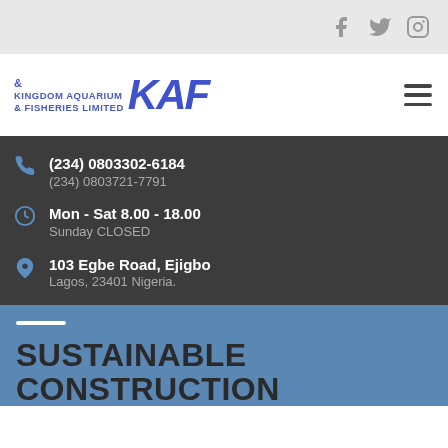Social media icons: Facebook, Twitter, Instagram
[Figure (logo): Kingdom Aquarium & Fisheries Limited logo with KAF text]
(234) 0803302-6184
(234) 0803721-7791
Mon - Sat 8.00 - 18.00
Sunday CLOSED
103 Egbe Road, Ejigbo
Lagos, 23401 Nigeria.
SUSTAINABLE CONSTRUCTION